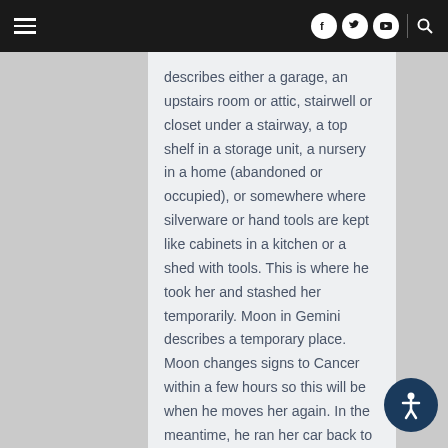Navigation bar with hamburger menu, social icons (Facebook, Twitter, YouTube), divider, and search icon
describes either a garage, an upstairs room or attic, stairwell or closet under a stairway, a top shelf in a storage unit, a nursery in a home (abandoned or occupied), or somewhere where silverware or hand tools are kept like cabinets in a kitchen or a shed with tools. This is where he took her and stashed her temporarily. Moon in Gemini describes a temporary place. Moon changes signs to Cancer within a few hours so this will be when he moves her again. In the meantime, he ran her car back to the apartments and hid nearby to watch the police. At 7 am, the tenth house ruler, Mars, is in the third